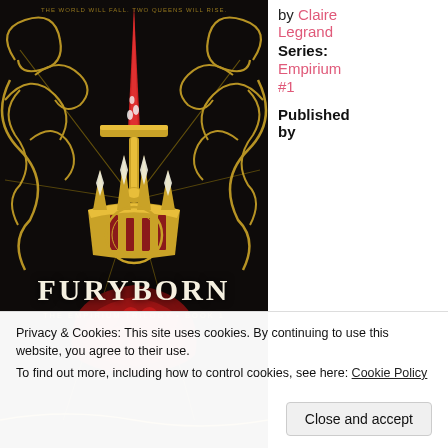[Figure (illustration): Book cover of Furyborn by Claire Legrand, The Empirium Trilogy Book 1. Dark fantasy ornate cover with a sword through a crown, golden decorative filigree on black background, red accents.]
by Claire Legrand
Series: Empirium #1
Published by
Privacy & Cookies: This site uses cookies. By continuing to use this website, you agree to their use.
To find out more, including how to control cookies, see here: Cookie Policy
Close and accept